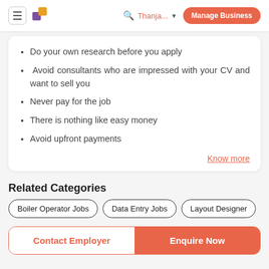Thanja... | Manage Business
Do your own research before you apply
Avoid consultants who are impressed with your CV and want to sell you
Never pay for the job
There is nothing like easy money
Avoid upfront payments
Know more
Related Categories
Boiler Operator Jobs | Data Entry Jobs | Layout Designer
Contact Employer | Enquire Now